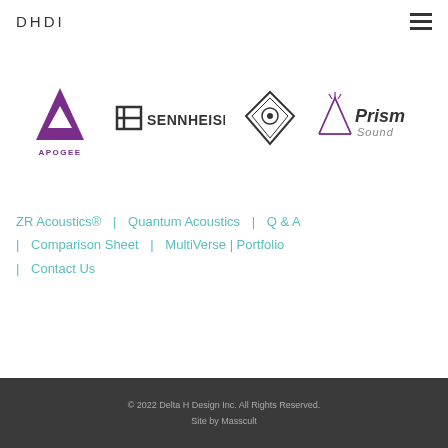DHDI
[Figure (logo): Four brand logos in a row: Apogee, Sennheiser, an unidentified diamond-shaped logo, and Prism Sound]
ZR Acoustics®  |  Quantum Acoustics  |  Q & A  |  Comparison Sheet  |  MultiVerse | Portfolio  |  Contact Us
© 2022 Delta H Design Inc. All Rights Reserved.
Site by Masscult